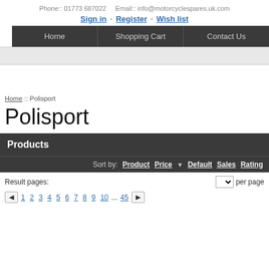Phone:: 01773 687022   Email:: info@motorcyclespares.uk.com
Sign in :: Register :: Wish list
Home   Shopping Cart   Contact Us
Home :: Polisport
Polisport
Products
Sort by: Product  Price  Default  Sales  Rating
Result pages:  per page
1  2  3  4  5  6  7  8  9  10  ...  45